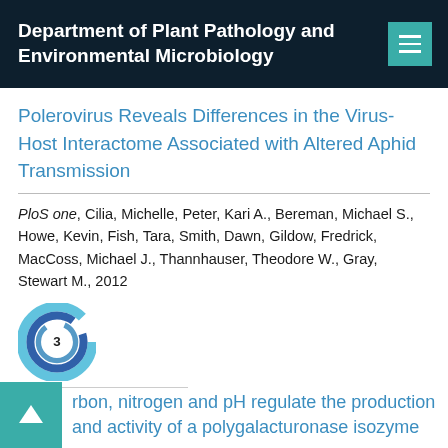Department of Plant Pathology and Environmental Microbiology
Polerovirus Reveals Differences in the Virus-Host Interactome Associated with Altered Aphid Transmission
PloS one, Cilia, Michelle, Peter, Kari A., Bereman, Michael S., Howe, Kevin, Fish, Tara, Smith, Dawn, Gildow, Fredrick, MacCoss, Michael J., Thannhauser, Theodore W., Gray, Stewart M., 2012
[Figure (other): Altmetric donut badge showing score of 3]
rbon, nitrogen and pH regulate the production and activity of a polygalacturonase isozyme